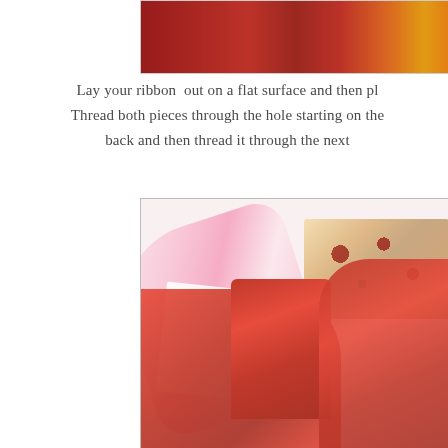[Figure (photo): Partial view of ribbon and wrapping paper with red and gold tones, cropped at left edge]
Lay your ribbon  out on a flat surface and then pl... Thread both pieces through the hole starting on the... back and then thread it through the next...
[Figure (photo): Gift wrapping scene showing pink and red ribbons, a floral patterned box, red tissue paper and white paper on a light background]